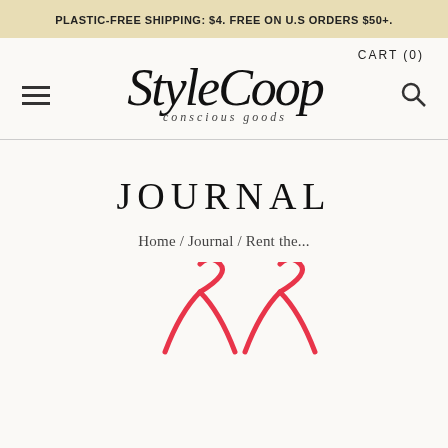PLASTIC-FREE SHIPPING: $4. FREE ON U.S ORDERS $50+.
CART (0)
[Figure (logo): StyleCoop conscious goods logo in cursive script with hamburger menu icon on left and search icon on right]
JOURNAL
Home / Journal / Rent the...
[Figure (photo): Bottom portion of image showing red wire hangers on a light background]